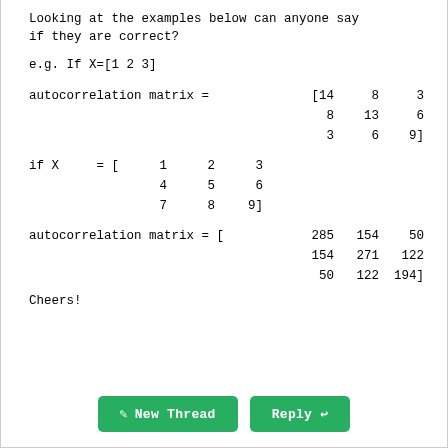Looking at the examples below can anyone say if they are correct?
e.g. If X=[1 2 3]
Cheers!